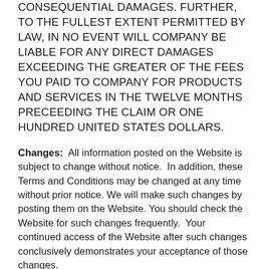CONSEQUENTIAL DAMAGES. FURTHER, TO THE FULLEST EXTENT PERMITTED BY LAW, IN NO EVENT WILL COMPANY BE LIABLE FOR ANY DIRECT DAMAGES EXCEEDING THE GREATER OF THE FEES YOU PAID TO COMPANY FOR PRODUCTS AND SERVICES IN THE TWELVE MONTHS PRECEEDING THE CLAIM OR ONE HUNDRED UNITED STATES DOLLARS.
Changes: All information posted on the Website is subject to change without notice. In addition, these Terms and Conditions may be changed at any time without prior notice. We will make such changes by posting them on the Website. You should check the Website for such changes frequently. Your continued access of the Website after such changes conclusively demonstrates your acceptance of those changes.